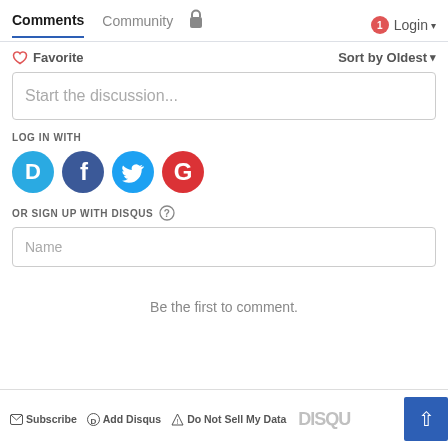Comments  Community  🔒  1  Login
❤ Favorite    Sort by Oldest ▾
Start the discussion...
LOG IN WITH
[Figure (illustration): Four social login icons: Disqus (blue circle with D), Facebook (dark blue circle with f), Twitter (light blue circle with bird), Google (red circle with G)]
OR SIGN UP WITH DISQUS ?
Name
Be the first to comment.
✉ Subscribe  Disqus-D Add Disqus  ⚠ Do Not Sell My Data  DISQUS